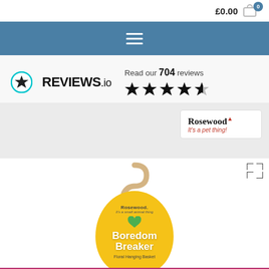£0.00  0
[Figure (screenshot): Navigation bar with hamburger menu icon on blue background]
[Figure (logo): REVIEWS.io logo with star badge icon, text 'Read our 704 reviews' and 4.5 star rating]
[Figure (logo): Rosewood brand badge - 'Rosewood It's a pet thing!']
[Figure (photo): Product photo of Rosewood Boredom Breaker Floral Hanging Basket with wooden hook and yellow tag card, expand icon in top right]